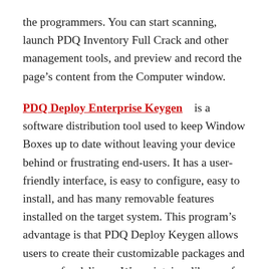the programmers. You can start scanning, launch PDQ Inventory Full Crack and other management tools, and preview and record the page’s content from the Computer window.
PDQ Deploy Enterprise Keygen is a software distribution tool used to keep Window Boxes up to date without leaving your device behind or frustrating end-users. It has a user-friendly interface, is easy to configure, easy to install, and has many removable features installed on the target system. This program’s advantage is that PDQ Deploy Keygen allows users to create their customizable packages and prepare for delivery. We maintain a library of over 250 popular apps to provide popular apps to keep you from doing so. When a new